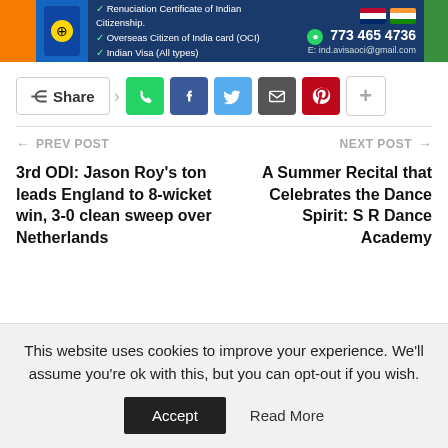[Figure (infographic): Advertisement banner for Indian visa/citizenship services showing passport graphic, checkmarks for services including Renunciation Certificate of Indian Citizenship, Overseas Citizen of India card (OCI), Indian Visa (All types), phone number 773 465 4736 and email ind.avisaoci@gmail.com, US and India flags]
[Figure (infographic): Social sharing bar with Share button and social media icons for WhatsApp, Facebook, Twitter, Email, Pinterest, and a plus button]
PREV POST
NEXT POST
3rd ODI: Jason Roy's ton leads England to 8-wicket win, 3-0 clean sweep over Netherlands
A Summer Recital that Celebrates the Dance Spirit: S R Dance Academy
This website uses cookies to improve your experience. We'll assume you're ok with this, but you can opt-out if you wish.